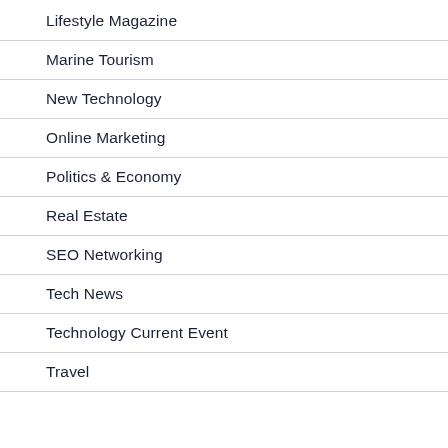Lifestyle Magazine
Marine Tourism
New Technology
Online Marketing
Politics & Economy
Real Estate
SEO Networking
Tech News
Technology Current Event
Travel